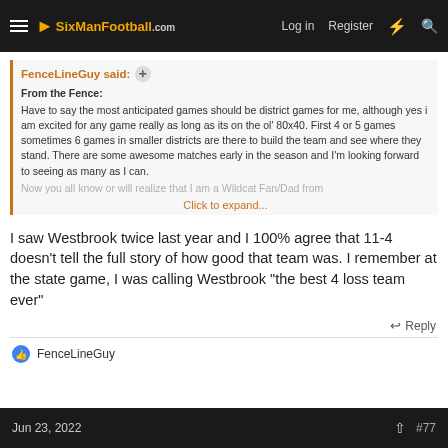SixManFootball.com — Log in  Register
FenceLineGuy said: ⊕
From the Fence:
Have to say the most anticipated games should be district games for me, although yes i am excited for any game really as long as its on the ol' 80x40. First 4 or 5 games sometimes 6 games in smaller districts are there to build the team and see where they stand. There are some awesome matches early in the season and I'm looking forward to seeing as many as I can.
Now you all know or will realize that I am a Wildcat Fan/Dad from
Click to expand...
I saw Westbrook twice last year and I 100% agree that 11-4 doesn't tell the full story of how good that team was. I remember at the state game, I was calling Westbrook "the best 4 loss team ever"
↩ Reply
👍 FenceLineGuy
Jun 23, 2022   #77